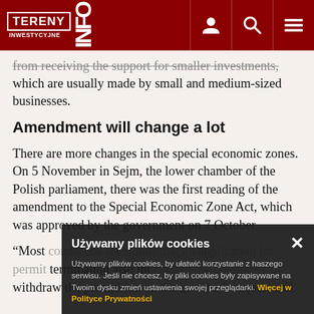TERENY INWESTYCYJNE INFO
from receiving the support for smaller investments, which are usually made by small and medium-sized businesses.
Amendment will change a lot
There are more changes in the special economic zones. On 5 November in Sejm, the lower chamber of the Polish parliament, there was the first reading of the amendment to the Special Economic Zone Act, which was approved by the government on 7 October.
“Most conditions for submitting an application for permit termination also introduces the possibility to withdraw the permission on the investor’s request and
Używamy plików cookies

Używamy plików cookies, by ułatwić korzystanie z haszego serwisu. Jeśli nie chcesz, by pliki cookies były zapisywane na Twoim dysku zmień ustawienia swojej przeglądarki. Więcej w Polityce Prywatności